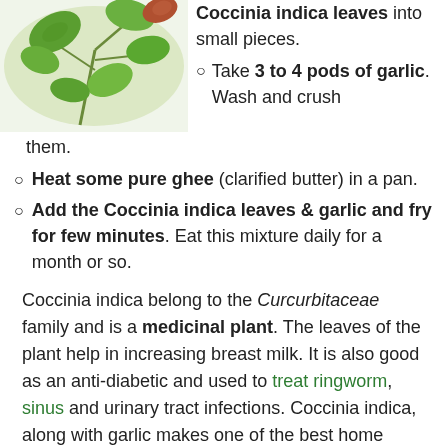[Figure (photo): Green plant leaves (Coccinia indica) photographed on white background, showing stems and multiple green leaves]
Coccinia indica leaves into small pieces.
Take 3 to 4 pods of garlic. Wash and crush them.
Heat some pure ghee (clarified butter) in a pan.
Add the Coccinia indica leaves & garlic and fry for few minutes. Eat this mixture daily for a month or so.
Coccinia indica belong to the Curcurbitaceae family and is a medicinal plant. The leaves of the plant help in increasing breast milk. It is also good as an anti-diabetic and used to treat ringworm, sinus and urinary tract infections. Coccinia indica, along with garlic makes one of the best home remedies to increase